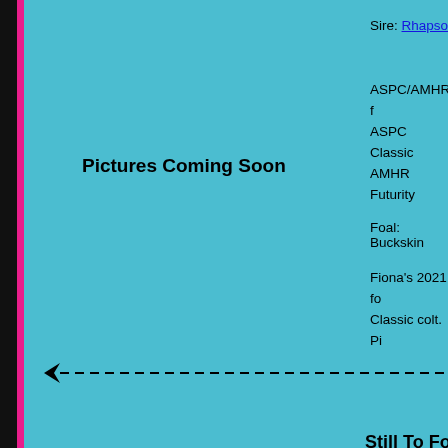Sire: Rhapsody
ASPC/AMHR f
ASPC Classic
AMHR Futurity
Pictures Coming Soon
Foal: Buckskin
Fiona’s 2021 fo
Classic colt. Pi
Still To Foal:
Dam: Reeves S
Sire: Rhapsody
NSPPR foal